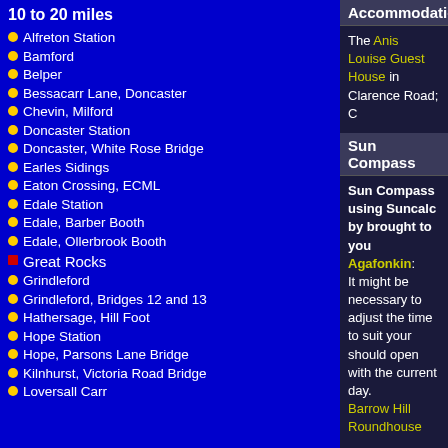10 to 20 miles
Alfreton Station
Bamford
Belper
Bessacarr Lane, Doncaster
Chevin, Milford
Doncaster Station
Doncaster, White Rose Bridge
Earles Sidings
Eaton Crossing, ECML
Edale Station
Edale, Barber Booth
Edale, Ollerbrook Booth
Great Rocks
Grindleford
Grindleford, Bridges 12 and 13
Hathersage, Hill Foot
Hope Station
Hope, Parsons Lane Bridge
Kilnhurst, Victoria Road Bridge
Loversall Carr
Accommodation
The Anis Louise Guest House in Clarence Road; C
Sun Compass
Sun Compass using Suncalc by brought to you Agafonkin: It might be necessary to adjust the time to suit your should open with the current day. Barrow Hill Roundhouse
Googly map